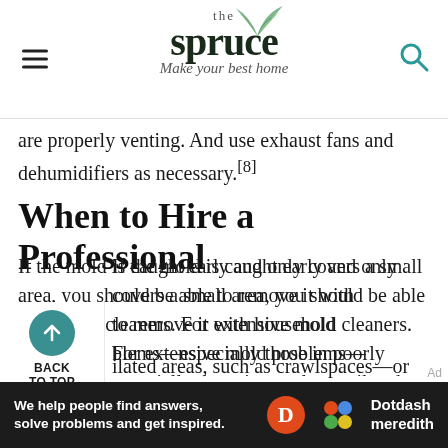the spruce — Make your best home
are properly venting. And use exhaust fans and dehumidifiers as necessary.[8]
When to Hire a Professional
If the mold is caught early and only covers a small area, you should be able to remove it with household cleaners. For extensive mold problems—especially those in poorly ventilated areas, such as crawlspaces—or for someone with mold allergies or a compromised respiratory system, consider hiring a
[Figure (logo): Dotdash Meredith advertisement banner at the bottom: 'We help people find answers, solve problems and get inspired.']